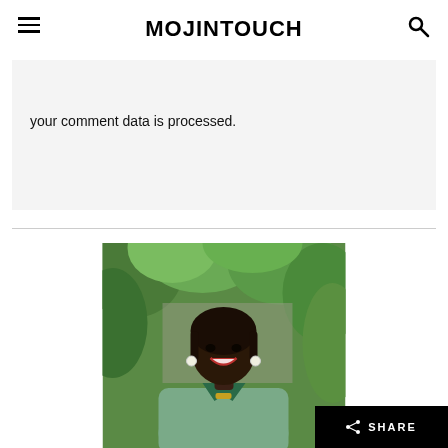MOJINTOUCH
your comment data is processed.
[Figure (photo): Portrait photo of a smiling young woman wearing a patterned blouse with green collar and pearl earrings, with green foliage in the background.]